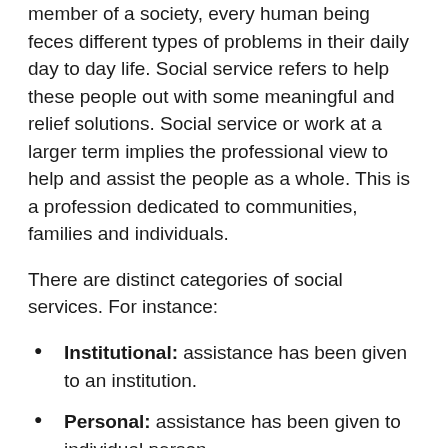member of a society, every human being feces different types of problems in their daily day to day life. Social service refers to help these people out with some meaningful and relief solutions. Social service or work at a larger term implies the professional view to help and assist the people as a whole. This is a profession dedicated to communities, families and individuals.
There are distinct categories of social services. For instance:
Institutional: assistance has been given to an institution.
Personal: assistance has been given to individual person.
Focus problem: assistance has been given to specific criteria of problems.
Social workers